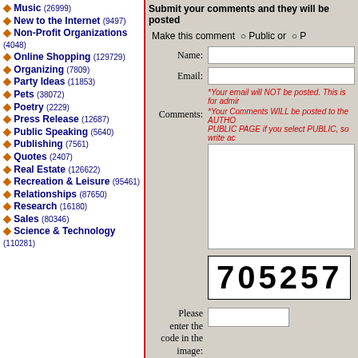♦ Music (26999)
♦ New to the Internet (9497)
♦ Non-Profit Organizations (4048)
♦ Online Shopping (129729)
♦ Organizing (7809)
♦ Party Ideas (11853)
♦ Pets (38072)
♦ Poetry (2229)
♦ Press Release (12687)
♦ Public Speaking (5640)
♦ Publishing (7561)
♦ Quotes (2407)
♦ Real Estate (126622)
♦ Recreation & Leisure (95461)
♦ Relationships (87650)
♦ Research (16180)
♦ Sales (80346)
♦ Science & Technology (110281)
Submit your comments and they will be posted
Make this comment  Public or  P
Name:
Email:
*Your email will NOT be posted. This is for admin
Comments:
*Your Comments WILL be posted to the AUTHOR PUBLIC PAGE if you select PUBLIC, so write ac
[Figure (other): CAPTCHA image showing the number 705257 in bold black text on white background]
Please enter the code in the image: